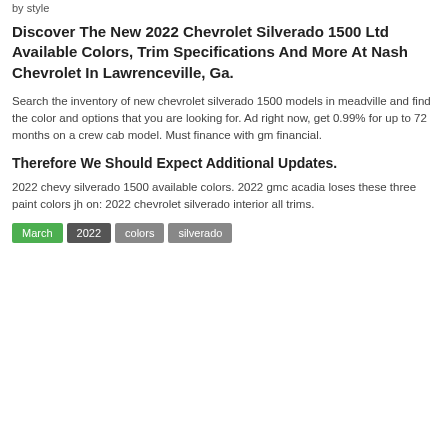by style
Discover The New 2022 Chevrolet Silverado 1500 Ltd Available Colors, Trim Specifications And More At Nash Chevrolet In Lawrenceville, Ga.
Search the inventory of new chevrolet silverado 1500 models in meadville and find the color and options that you are looking for. Ad right now, get 0.99% for up to 72 months on a crew cab model. Must finance with gm financial.
Therefore We Should Expect Additional Updates.
2022 chevy silverado 1500 available colors. 2022 gmc acadia loses these three paint colors jh on: 2022 chevrolet silverado interior all trims.
March
2022
colors
silverado